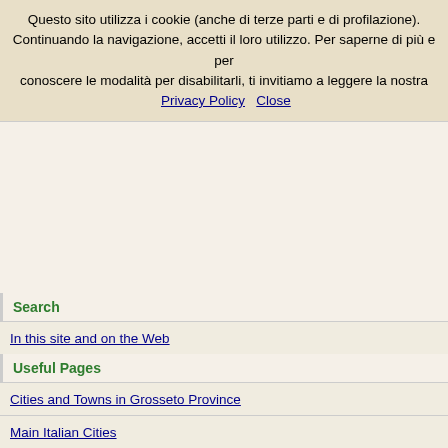Questo sito utilizza i cookie (anche di terze parti e di profilazione). Continuando la navigazione, accetti il loro utilizzo. Per saperne di più e per conoscere le modalità per disabilitarli, ti invitiamo a leggere la nostra Privacy Policy   Close
Search
In this site and on the Web
Useful Pages
Cities and Towns in Grosseto Province
Main Italian Cities